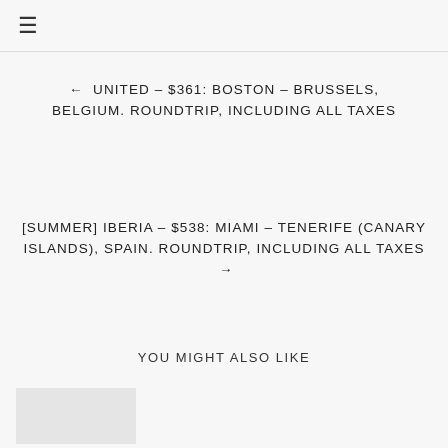☰
← UNITED – $361: BOSTON – BRUSSELS, BELGIUM. ROUNDTRIP, INCLUDING ALL TAXES
[SUMMER] IBERIA – $538: MIAMI – TENERIFE (CANARY ISLANDS), SPAIN. ROUNDTRIP, INCLUDING ALL TAXES →
YOU MIGHT ALSO LIKE
[Figure (photo): Partial image placeholder at bottom left]